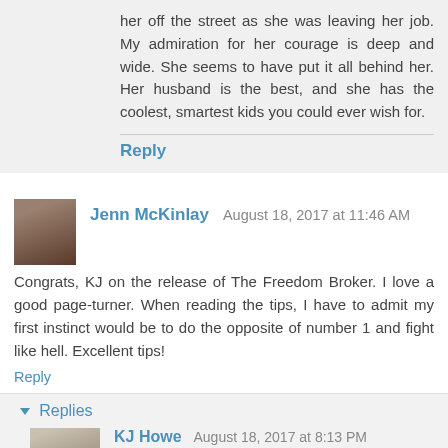her off the street as she was leaving her job. My admiration for her courage is deep and wide. She seems to have put it all behind her. Her husband is the best, and she has the coolest, smartest kids you could ever wish for.
Reply
Jenn McKinlay  August 18, 2017 at 11:46 AM
Congrats, KJ on the release of The Freedom Broker. I love a good page-turner. When reading the tips, I have to admit my first instinct would be to do the opposite of number 1 and fight like hell. Excellent tips!
Reply
Replies
KJ Howe  August 18, 2017 at 8:13 PM
Jenn, love your fire. And I totally understand your instinct. We're all built for fight or flight, so that's